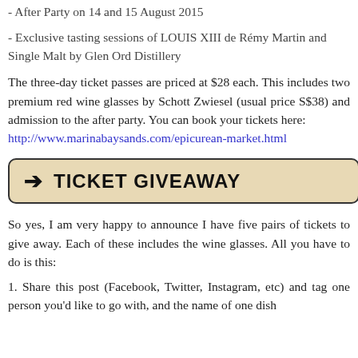- After Party on 14 and 15 August 2015
- Exclusive tasting sessions of LOUIS XIII de Rémy Martin and Single Malt by Glen Ord Distillery
The three-day ticket passes are priced at $28 each. This includes two premium red wine glasses by Schott Zwiesel (usual price S$38) and admission to the after party. You can book your tickets here: http://www.marinabaysands.com/epicurean-market.html
→ TICKET GIVEAWAY
So yes, I am very happy to announce I have five pairs of tickets to give away. Each of these includes the wine glasses. All you have to do is this:
1. Share this post (Facebook, Twitter, Instagram, etc) and tag one person you'd like to go with, and the name of one dish